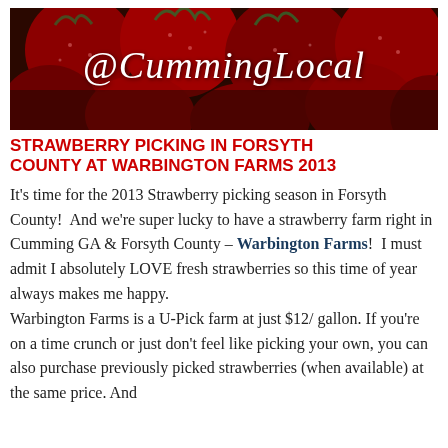[Figure (photo): Close-up photo of red strawberries with '@CummingLocal' watermark text overlaid in white italic script]
STRAWBERRY PICKING IN FORSYTH COUNTY AT WARBINGTON FARMS 2013
It's time for the 2013 Strawberry picking season in Forsyth County!  And we're super lucky to have a strawberry farm right in Cumming GA & Forsyth County – Warbington Farms!  I must admit I absolutely LOVE fresh strawberries so this time of year always makes me happy.
Warbington Farms is a U-Pick farm at just $12/ gallon. If you're on a time crunch or just don't feel like picking your own, you can also purchase previously picked strawberries (when available) at the same price. And